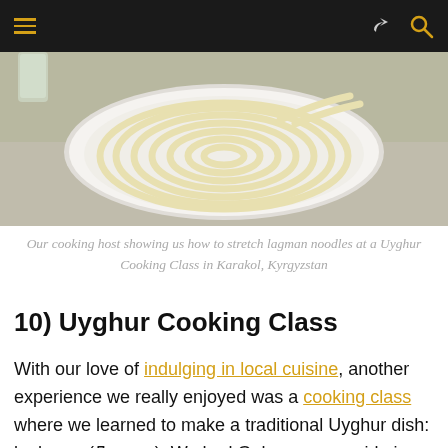Navigation bar with hamburger menu and icons
[Figure (photo): A white plate with lagman noodles coiled in a spiral pattern on a table with a lace tablecloth]
Our cooking host showing us how to stretch lagman noodles at a Uyghur Cooking Class in Karakol, Kyrgyzstan
10) Uyghur Cooking Class
With our love of indulging in local cuisine, another experience we really enjoyed was a cooking class where we learned to make a traditional Uyghur dish: laghman (Лагман). We had Gulya as our guide in the kitchen.